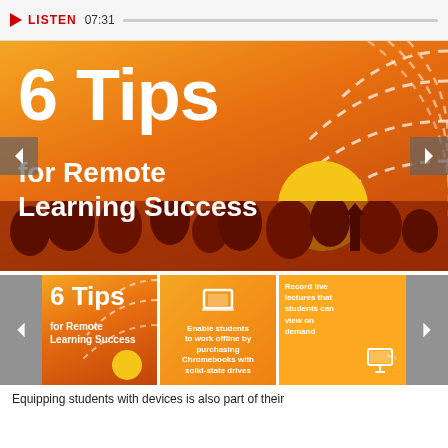LISTEN 07:31
[Figure (illustration): Main slide banner reading '6 Tips for Remote Learning Success' on orange gradient background with dashed arc decorations, sun, and tree silhouettes. Left and right navigation arrows.]
[Figure (illustration): Thumbnail strip showing three slides: (1) '6 Tips for Remote Learning Success' slide thumbnail, (2) slide about enabling students to work offline by purchasing Chromebooks with solid-state drives, (3) slide about recording live lectures that students can view on demand. Left and right navigation arrows.]
Equipping students with devices is also part of their